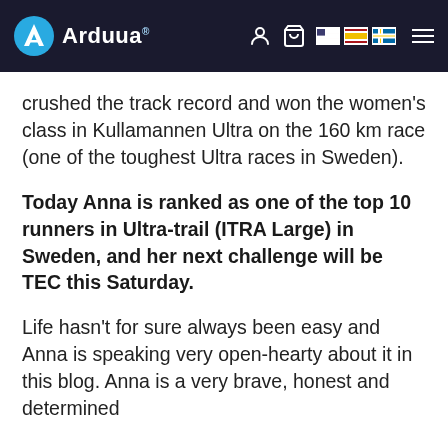Arduua
crushed the track record and won the women's class in Kullamannen Ultra on the 160 km race (one of the toughest Ultra races in Sweden).
Today Anna is ranked as one of the top 10 runners in Ultra-trail (ITRA Large) in Sweden, and her next challenge will be TEC this Saturday.
Life hasn't for sure always been easy and Anna is speaking very open-hearty about it in this blog. Anna is a very brave, honest and determined